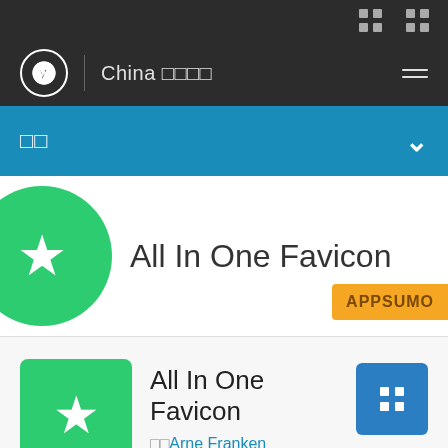WordPress admin interface - China plugin page
[Figure (screenshot): WordPress admin top bar with dark background, showing grid/menu icons on right]
China □□□□
□□
All In One Favicon
[Figure (logo): AppSumo badge in orange/yellow]
[Figure (logo): All In One Favicon plugin icon - green square with white star]
All In One Favicon
□□Arne Franken